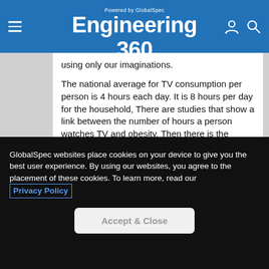Engineering 360 – Powered by GlobalSpec
using only our imaginations.
The national average for TV consumption per person is 4 hours each day. It is 8 hours per day for the household, There are studies that show a link between the number of hours a person watches TV and obesity. Then there is the question of what it does to the mind and our social behavior.
GlobalSpec websites place cookies on your device to give you the best user experience. By using our websites, you agree to the placement of these cookies. To learn more, read our Privacy Policy
Accept & Close